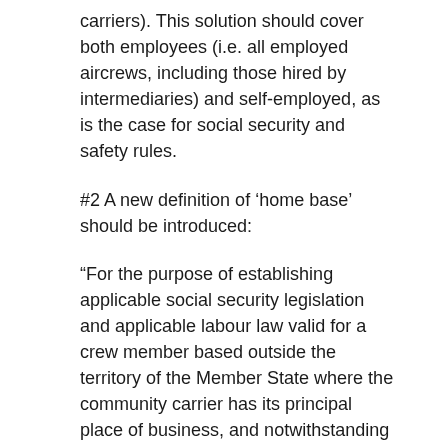carriers). This solution should cover both employees (i.e. all employed aircrews, including those hired by intermediaries) and self-employed, as is the case for social security and safety rules.
#2 A new definition of 'home base' should be introduced:
“For the purpose of establishing applicable social security legislation and applicable labour law valid for a crew member based outside the territory of the Member State where the community carrier has its principal place of business, and notwithstanding the definition in Annex II of Regulation (EU) 83/2014 laying down technical requirements and administrative procedures related to air operations, the home base is the aircrew’s place of work which shall be considered the location from which the